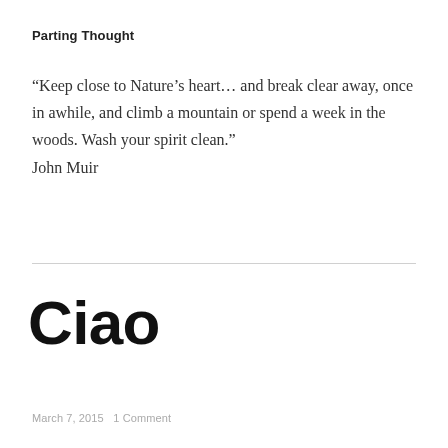Parting Thought
“Keep close to Nature’s heart… and break clear away, once in awhile, and climb a mountain or spend a week in the woods. Wash your spirit clean.”
John Muir
Ciao
March 7, 2015   1 Comment